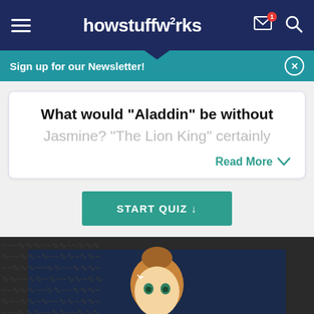howstuffworks
Sign up for our Newsletter!
What would "Aladdin" be without Jasmine? "The Lion King" certainly
Read More
START QUIZ ↓
[Figure (illustration): Partial view of an animated Disney-style female character with brown hair, green eyes, against a dark blue background with decorative dark border pattern]